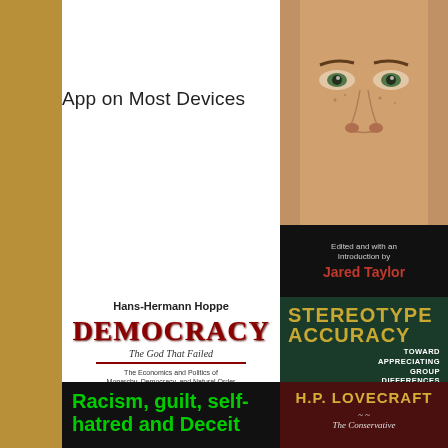App on Most Devices
[Figure (photo): Close-up photo of a person's eyes and nose]
Edited and with an Introduction by Jared Taylor
[Figure (illustration): Democracy: The God That Failed book cover by Hans-Hermann Hoppe]
[Figure (illustration): Stereotype Accuracy: Toward Appreciating Group Differences book cover]
[Figure (illustration): Racism, guilt, self-hatred and Deceit book cover (partial)]
[Figure (illustration): H.P. Lovecraft book cover (partial)]